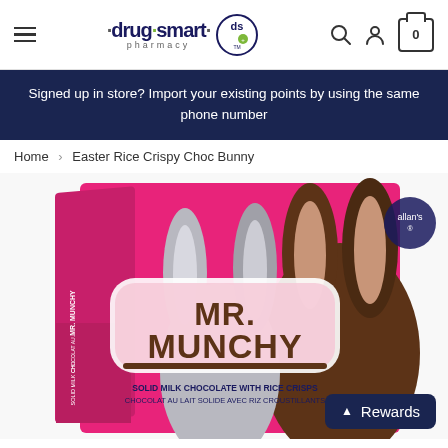drug smart pharmacy — navigation header with hamburger menu, logo, search, account, and cart icons
Signed up in store? Import your existing points by using the same phone number
Home > Easter Rice Crispy Choc Bunny
[Figure (photo): Product photo of Mr. Munchy Easter Rice Crispy Chocolate Bunny by Allan's. Pink box with chocolate bunny visible. Text on box: MR. MUNCHY, SOLID MILK CHOCOLATE WITH RICE CRISPS, CHOCOLAT AU LAIT SOLIDE AVEC RIZ CROUSTILLANTS]
Rewards